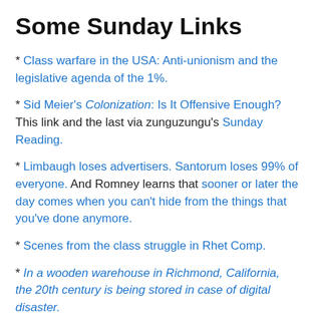Some Sunday Links
* Class warfare in the USA: Anti-unionism and the legislative agenda of the 1%.
* Sid Meier's Colonization: Is It Offensive Enough? This link and the last via zunguzungu's Sunday Reading.
* Limbaugh loses advertisers. Santorum loses 99% of everyone. And Romney learns that sooner or later the day comes when you can't hide from the things that you've done anymore.
* Scenes from the class struggle in Rhet Comp.
* In a wooden warehouse in Richmond, California, the 20th century is being stored in case of digital disaster.
* Another apocalypse slideshow from io9.